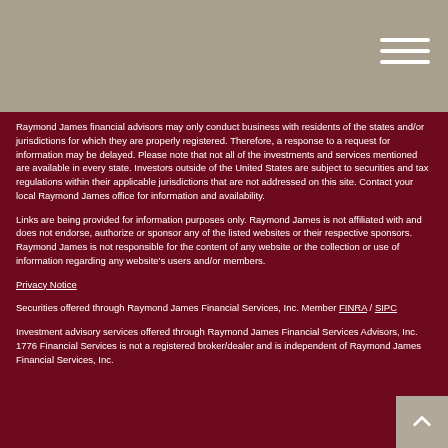Raymond James financial advisors may only conduct business with residents of the states and/or jurisdictions for which they are properly registered. Therefore, a response to a request for information may be delayed. Please note that not all of the investments and services mentioned are available in every state. Investors outside of the United States are subject to securities and tax regulations within their applicable jurisdictions that are not addressed on this site. Contact your local Raymond James office for information and availability.
Links are being provided for information purposes only. Raymond James is not affiliated with and does not endorse, authorize or sponsor any of the listed websites or their respective sponsors. Raymond James is not responsible for the content of any website or the collection or use of information regarding any website's users and/or members.
Privacy Notice
Securities offered through Raymond James Financial Services, Inc. Member FINRA / SIPC
Investment advisory services offered through Raymond James Financial Services Advisors, Inc. 1776 Financial Services is not a registered broker/dealer and is independent of Raymond James Financial Services, Inc.